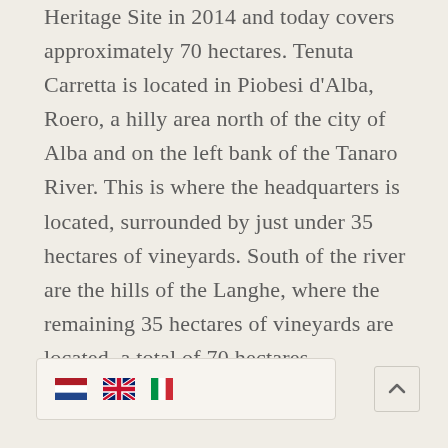Heritage Site in 2014 and today covers approximately 70 hectares. Tenuta Carretta is located in Piobesi d'Alba, Roero, a hilly area north of the city of Alba and on the left bank of the Tanaro River. This is where the headquarters is located, surrounded by just under 35 hectares of vineyards. South of the river are the hills of the Langhe, where the remaining 35 hectares of vineyards are located, a total of 70 hectares.
[Figure (other): Language selector bar showing three country flags: Netherlands (red/white/blue horizontal stripes), United Kingdom (Union Jack), and Italy (green/white/red vertical stripes)]